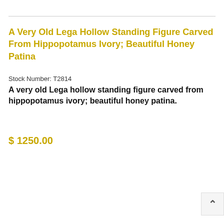A Very Old Lega Hollow Standing Figure Carved From Hippopotamus Ivory; Beautiful Honey Patina
Stock Number: T2814
A very old Lega hollow standing figure carved from hippopotamus ivory; beautiful honey patina.
$ 1250.00